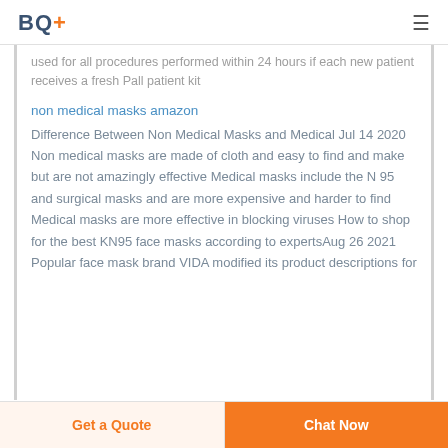BQ+
used for all procedures performed within 24 hours if each new patient receives a fresh Pall patient kit
non medical masks amazon
Difference Between Non Medical Masks and Medical Jul 14 2020  Non medical masks are made of cloth and easy to find and make but are not amazingly effective Medical masks include the N 95 and surgical masks and are more expensive and harder to find Medical masks are more effective in blocking viruses How to shop for the best KN95 face masks according to expertsAug 26 2021  Popular face mask brand VIDA modified its product descriptions for
Get a Quote  Chat Now